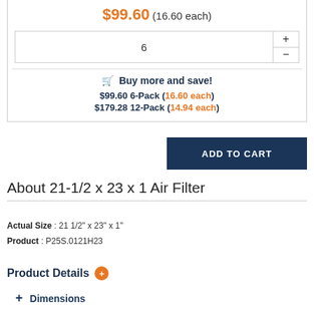$99.60 (16.60 each)
6
🛒 Buy more and save!
$99.60 6-Pack (16.60 each)
$179.28 12-Pack (14.94 each)
ADD TO CART
About 21-1/2 x 23 x 1 Air Filter
Actual Size : 21 1/2" x 23" x 1"
Product : P25S.0121H23
Product Details
Dimensions